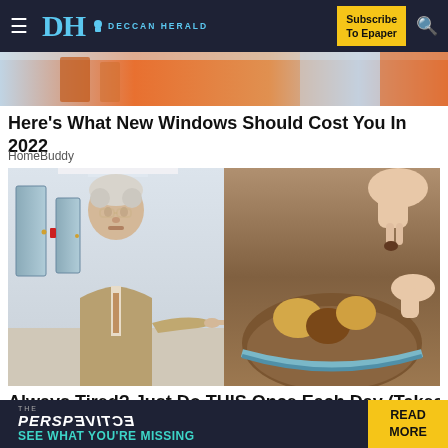DH DECCAN HERALD — Subscribe To Epaper
[Figure (photo): Top image strip showing people, partially visible]
Here's What New Windows Should Cost You In 2022
HomeBuddy
[Figure (photo): Left: Older man in beige suit with glasses pointing finger in a hospital corridor. Right: Hands holding/picking up small food items from a bowl with sandy/chocolatey contents.]
Always Tired? Just Do THIS Once Each Day (Takes About 2
[Figure (infographic): Bottom banner: THE PERSPECTIVE — SEE WHAT YOU'RE MISSING | READ MORE]